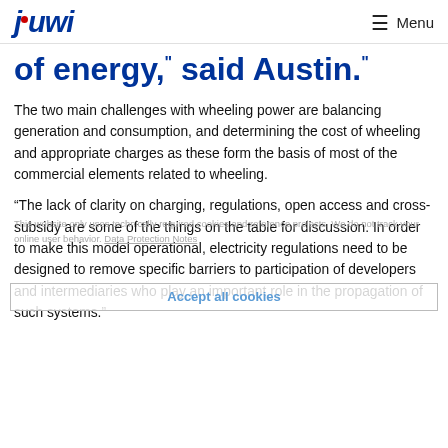juwi  Menu
of energy," said Austin."
The two main challenges with wheeling power are balancing generation and consumption, and determining the cost of wheeling and appropriate charges as these form the basis of most of the commercial elements related to wheeling.
“The lack of clarity on charging, regulations, open access and cross-subsidy are some of the things on the table for discussion. In order to make this model operational, electricity regulations need to be designed to remove specific barriers to participation of developers and intermediaries who play an important role in the propagation of such systems.”